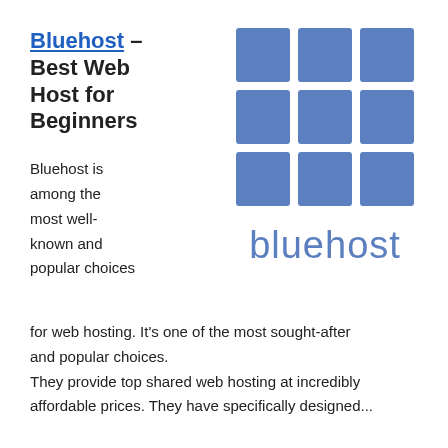Bluehost – Best Web Host for Beginners
[Figure (logo): Bluehost logo: 3x3 grid of blue squares above the wordmark 'bluehost' in blue]
Bluehost is among the most well-known and popular choices for web hosting. It's one of the most sought-after and popular choices.
They provide top shared web hosting at incredibly affordable prices. They have specifically designed...